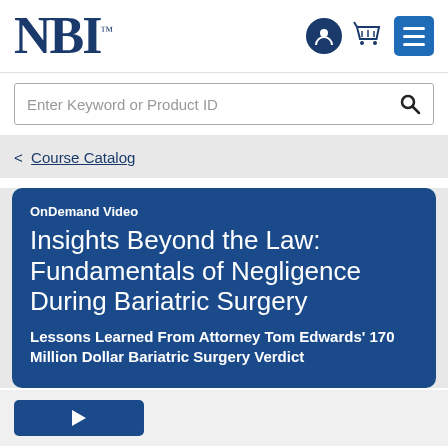NBI
Enter Keyword or Product ID
< Course Catalog
OnDemand Video
Insights Beyond the Law: Fundamentals of Negligence During Bariatric Surgery
Lessons Learned From Attorney Tom Edwards' 170 Million Dollar Bariatric Surgery Verdict